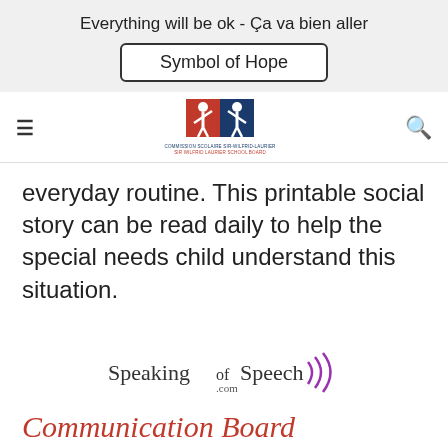Everything will be ok - Ça va bien aller
Symbol of Hope
[Figure (logo): Sir Wilfrid Laurier School Board logo with French and English text]
everyday routine. This printable social story can be read daily to help the special needs child understand this situation.
[Figure (logo): Speaking of Speech .com logo with purple sound wave marks]
Communication Board